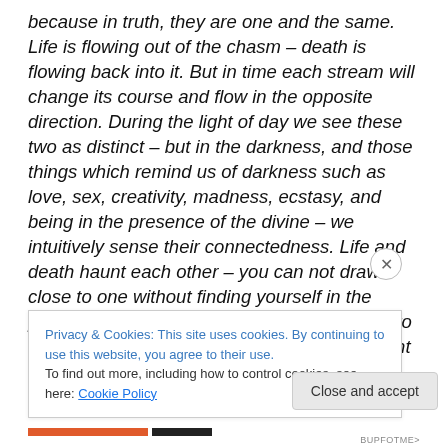because in truth, they are one and the same. Life is flowing out of the chasm – death is flowing back into it. But in time each stream will change its course and flow in the opposite direction. During the light of day we see these two as distinct – but in the darkness, and those things which remind us of darkness such as love, sex, creativity, madness, ecstasy, and being in the presence of the divine – we intuitively sense their connectedness. Life and death haunt each other – you can not draw close to one without finding yourself in the proximity of the other. When a child comes into this world, it is a dangerous time both for infant
Privacy & Cookies: This site uses cookies. By continuing to use this website, you agree to their use.
To find out more, including how to control cookies, see here: Cookie Policy
Close and accept